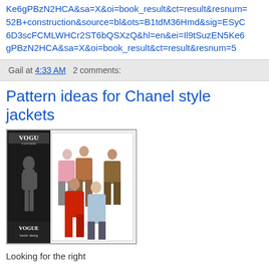Ke6gPBzN2HCA&sa=X&oi=book_result&ct=result&resnum=52B+construction&source=bl&ots=B1tdM36Hmd&sig=ESyC6D3scFCMLWHCr2ST6bQSXzQ&hl=en&ei=Il9tSuzEN5Ke6gPBzN2HCA&sa=X&oi=book_result&ct=result&resnum=5
Gail at 4:33 AM   2 comments:
Pattern ideas for Chanel style jackets
[Figure (photo): Two sewing pattern images side by side: left is a Vogue Patterns basic design template showing a silhouette figure; right is a Vogue pattern illustration showing five women in various Chanel-style jackets in red, brown/tan, and blue colors.]
Looking for the right